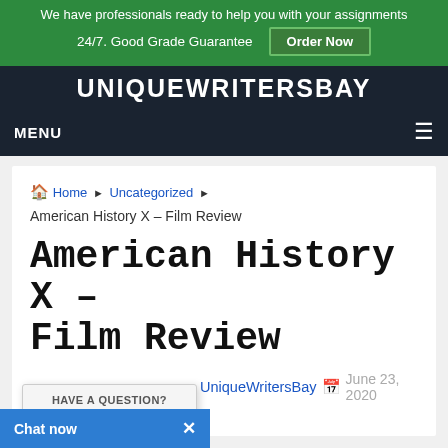We have professionals ready to help you with your assignments 24/7. Good Grade Guarantee  Order Now
UNIQUEWRITERSBAY
MENU
Home › Uncategorized › American History X – Film Review
American History X – Film Review
By UniqueWritersBay  June 23, 2020  Uncategorized  0
HAVE A QUESTION? CHAT NOW